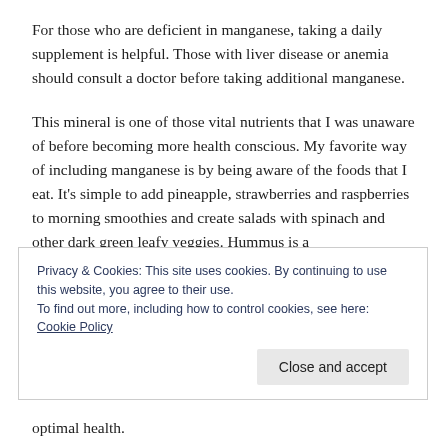For those who are deficient in manganese, taking a daily supplement is helpful. Those with liver disease or anemia should consult a doctor before taking additional manganese.
This mineral is one of those vital nutrients that I was unaware of before becoming more health conscious. My favorite way of including manganese is by being aware of the foods that I eat. It’s simple to add pineapple, strawberries and raspberries to morning smoothies and create salads with spinach and other dark green leafy veggies. Hummus is a
Privacy & Cookies: This site uses cookies. By continuing to use this website, you agree to their use.
To find out more, including how to control cookies, see here: Cookie Policy
optimal health.